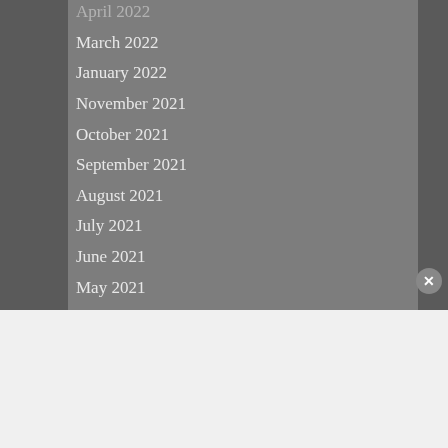April 2022
March 2022
January 2022
November 2021
October 2021
September 2021
August 2021
July 2021
June 2021
May 2021
August 2020
July 2020
June 2020
May 2020
April 2020
Advertisements
[Figure (other): DuckDuckGo advertisement banner with orange background. Text reads 'Search, browse, and email with more privacy. All in One Free App' with a phone showing the DuckDuckGo app logo.]